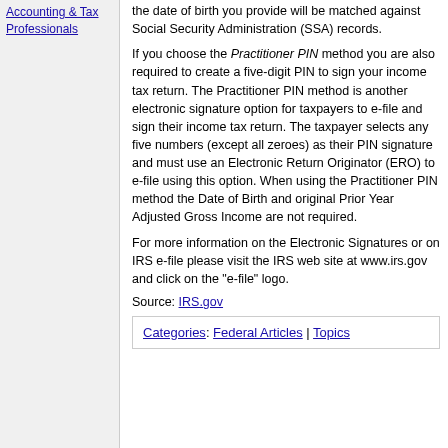Accounting & Tax Professionals
the date of birth you provide will be matched against Social Security Administration (SSA) records.
If you choose the Practitioner PIN method you are also required to create a five-digit PIN to sign your income tax return. The Practitioner PIN method is another electronic signature option for taxpayers to e-file and sign their income tax return. The taxpayer selects any five numbers (except all zeroes) as their PIN signature and must use an Electronic Return Originator (ERO) to e-file using this option. When using the Practitioner PIN method the Date of Birth and original Prior Year Adjusted Gross Income are not required.
For more information on the Electronic Signatures or on IRS e-file please visit the IRS web site at www.irs.gov and click on the "e-file" logo.
Source: IRS.gov
Categories: Federal Articles | Topics